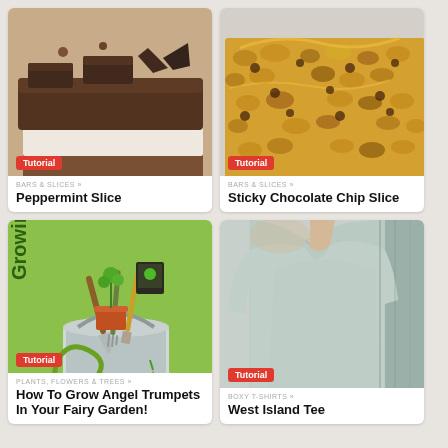[Figure (photo): Close-up photo of a peppermint slice dessert with chocolate layers and white cream filling]
Tutorial
BARS & SLICES »
Peppermint Slice
[Figure (photo): Close-up photo of a sticky chocolate chip slice with golden caramel and oat topping]
Tutorial
BARS & SLICES »
Sticky Chocolate Chip Slice
[Figure (illustration): Illustrated book cover showing gardening tools in a bucket with text Growing Angel Trumpets on green background]
Tutorial
PLANTS, FLOWERS & TREES »
How To Grow Angel Trumpets In Your Fairy Garden!
[Figure (photo): Photo of a person wearing a light blue/mint boxy t-shirt]
Tutorial
BOXY T-SHIRTS »
West Island Tee